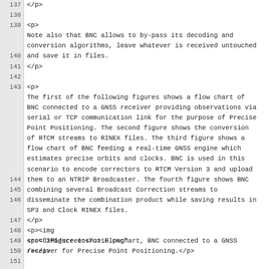Source code view of an HTML document showing lines 137-153 with XML/HTML markup describing BNC software flowcharts and figure references.
137: (blank)
138: <p>
139: Note also that BNC allows to by-pass its decoding and conversion algorithms, leave whatever is received untouched and save it in files.
140: </p>
141: (blank)
142: <p>
143: (long paragraph about flowcharts)
144: </p>
145: <p><img src="IMG/screenshot10.png"/></p>
146: <p><u>Figure 1:</u> Flowchart, BNC connected to a GNSS receiver for Precise Point Positioning.</p>
147: (blank)
148: <p>
149: </p>
150: <p><img src="IMG/screenshot01.png"/></p>
151: <p><u>Figure 2:</u> Flowchart, BNC converting RTCM streams to RINEX batches.</p>
152: (blank)
153: <p>